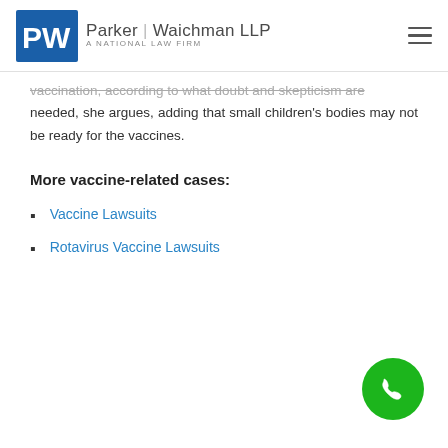Parker | Waichman LLP — A National Law Firm
vaccination, according to what doubt and skepticism are needed, she argues, adding that small children's bodies may not be ready for the vaccines.
More vaccine-related cases:
Vaccine Lawsuits
Rotavirus Vaccine Lawsuits
[Figure (other): Green circular phone call button (floating action button) in bottom-right corner]